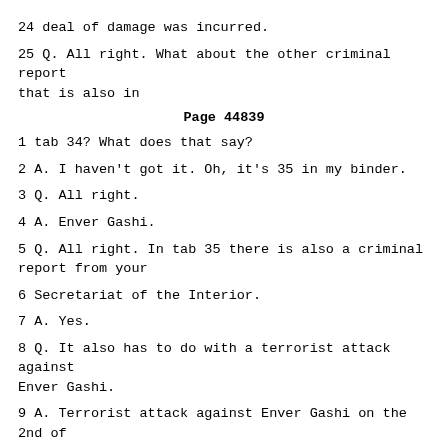24 deal of damage was incurred.
25 Q. All right. What about the other criminal report that is also in
Page 44839
1 tab 34? What does that say?
2 A. I haven't got it. Oh, it's 35 in my binder.
3 Q. All right.
4 A. Enver Gashi.
5 Q. All right. In tab 35 there is also a criminal report from your
6 Secretariat of the Interior.
7 A. Yes.
8 Q. It also has to do with a terrorist attack against Enver Gashi.
9 A. Terrorist attack against Enver Gashi on the 2nd of January, 1999.
10 He was killed in front of his town -- his house in Stimlje.
11 Q. Both of these criminal reports pertain to